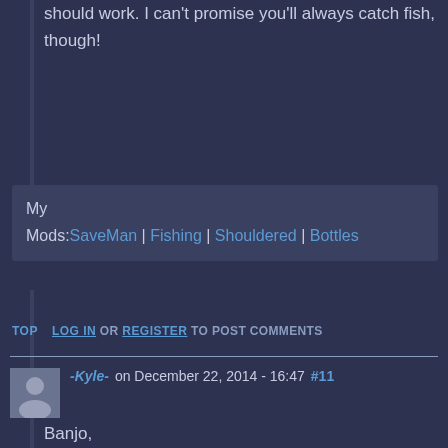should work. I can't promise you'll always catch fish, though!
My Mods: SaveMan | Fishing | Shouldered | Bottles
TOP   LOG IN OR REGISTER TO POST COMMENTS
-Kyle- on December 22, 2014 - 16:47  #11
Banjo,

Any chance of being able to use the new fishing items to make traps out of if one has the Trapping skill?